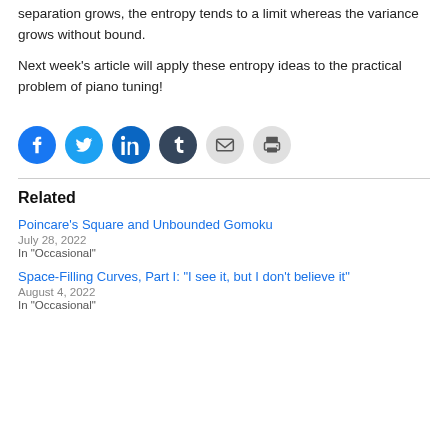separation grows, the entropy tends to a limit whereas the variance grows without bound.
Next week's article will apply these entropy ideas to the practical problem of piano tuning!
[Figure (infographic): Row of six social share buttons: Facebook (blue), Twitter (light blue), LinkedIn (dark blue), Tumblr (dark navy), Email (grey), Print (grey)]
Related
Poincare's Square and Unbounded Gomoku
July 28, 2022
In "Occasional"
Space-Filling Curves, Part I: "I see it, but I don't believe it"
August 4, 2022
In "Occasional"